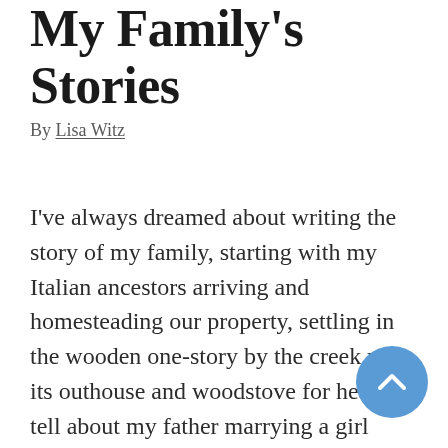My Family's Stories
By Lisa Witz
I've always dreamed about writing the story of my family, starting with my Italian ancestors arriving and homesteading our property, settling in the wooden one-story by the creek with its outhouse and woodstove for heat. I'd tell about my father marrying a girl from the city, wooing her to the idyllic life of a dairy farmer and raising a crop of kids. I'd tell about my parents passing on the family farm to the next generation. Last year, I finally decided to devote some time to my secret pipedream, and I attended my first ever writing retreat. I was